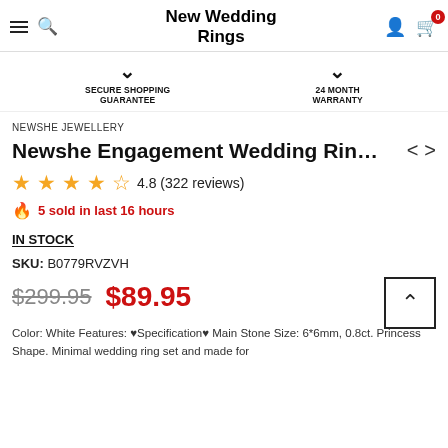New Wedding Rings
SECURE SHOPPING GUARANTEE    24 MONTH WARRANTY
NEWSHE JEWELLERY
Newshe Engagement Wedding Rin...
4.8 (322 reviews)
5 sold in last 16 hours
IN STOCK
SKU:  B0779RVZVH
$299.95  $89.95
Color: White Features: ♥Specification♥ Main Stone Size: 6*6mm, 0.8ct. Princess Shape. Minimal wedding ring set and made for